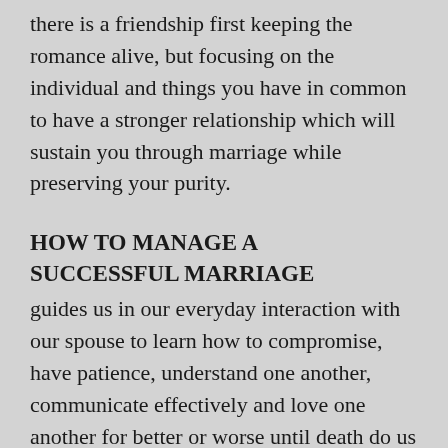there is a friendship first keeping the romance alive, but focusing on the individual and things you have in common to have a stronger relationship which will sustain you through marriage while preserving your purity.
HOW TO MANAGE A SUCCESSFUL MARRIAGE
guides us in our everyday interaction with our spouse to learn how to compromise, have patience, understand one another, communicate effectively and love one another for better or worse until death do us part